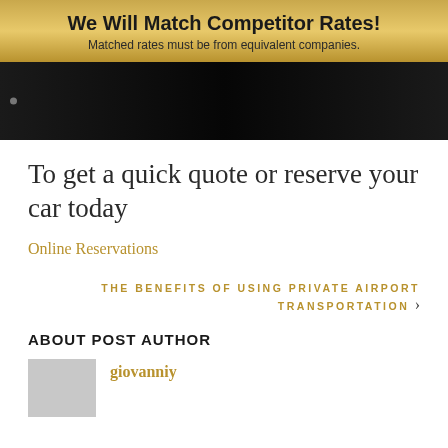We Will Match Competitor Rates!
Matched rates must be from equivalent companies.
[Figure (photo): Dark hero image of vehicles, with a bullet navigation dot on the left]
To get a quick quote or reserve your car today
Online Reservations
THE BENEFITS OF USING PRIVATE AIRPORT TRANSPORTATION
ABOUT POST AUTHOR
giovanniy